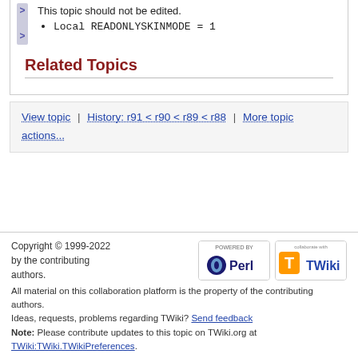This topic should not be edited.
Local READONLYSKINMODE = 1
Related Topics
View topic | History: r91 < r90 < r89 < r88 | More topic actions...
Copyright © 1999-2022 by the contributing authors. All material on this collaboration platform is the property of the contributing authors. Ideas, requests, problems regarding TWiki? Send feedback Note: Please contribute updates to this topic on TWiki.org at TWiki:TWiki.TWikiPreferences.